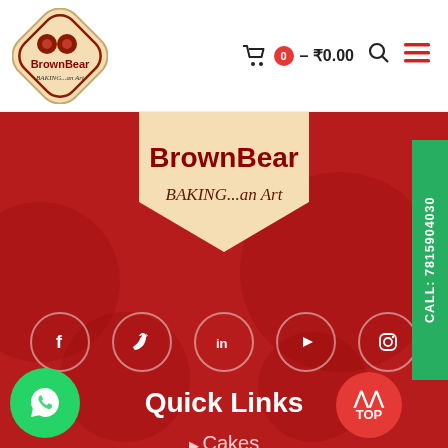[Figure (logo): BrownBear Baking...an Art logo in navigation bar]
🛒 0 – ₹0.00
[Figure (screenshot): BrownBear BAKING...an Art hero logo on red background]
[Figure (infographic): Social media icons row: Facebook, Twitter, LinkedIn, YouTube, Instagram — white icons in outlined circles on dark red background]
Quick Links
Cakes
CALL: 7815904030
[Figure (logo): WhatsApp green circle button bottom left]
[Figure (other): TOP red circle scroll-to-top button with chevrons]